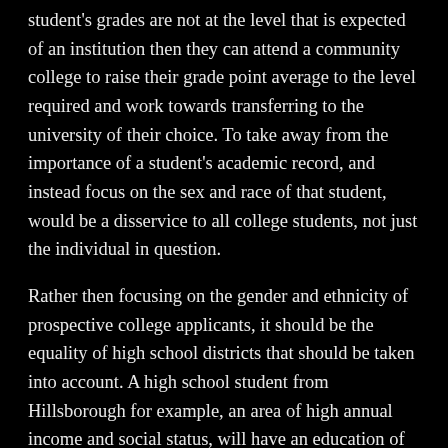student's grades are not at the level that is expected of an institution then they can attend a community college to raise their grade point average to the level required and work towards transferring to the university of their choice. To take away from the importance of a student's academic record, and instead focus on the sex and race of that student, would be a disservice to all college students, not just the individual in question.
Rather then focusing on the gender and ethnicity of prospective college applicants, it should be the equality of high school districts that should be taken into account. A high school student from Hillsborough for example, an area of high annual income and social status, will have an education of the highest caliber because they are from a city that is financially and socially well off. On the other side of the spectrum take a student from San Bruno. While the student may be at the top of their class in that